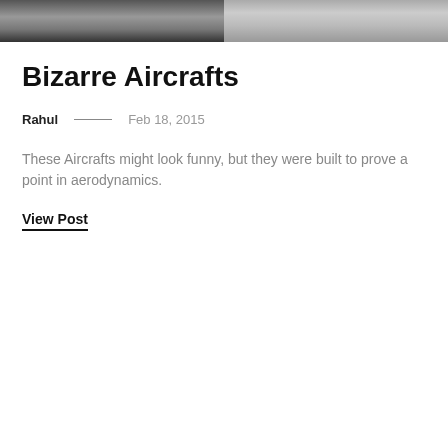[Figure (photo): Black and white photograph of aircraft, split into two panels side by side at the top of the page]
Bizarre Aircrafts
Rahul — Feb 18, 2015
These Aircrafts might look funny, but they were built to prove a point in aerodynamics.
View Post